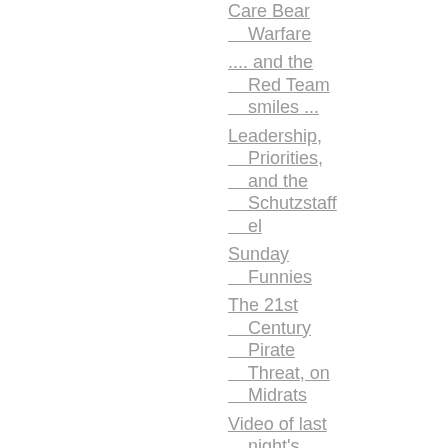Care Bear Warfare
.... and the Red Team smiles ...
Leadership, Priorities, and the Schutzstaffel
Sunday Funnies
The 21st Century Pirate Threat, on Midrats
Video of last night's Salamanderpalooza in DC
No Confidence in SECNAV